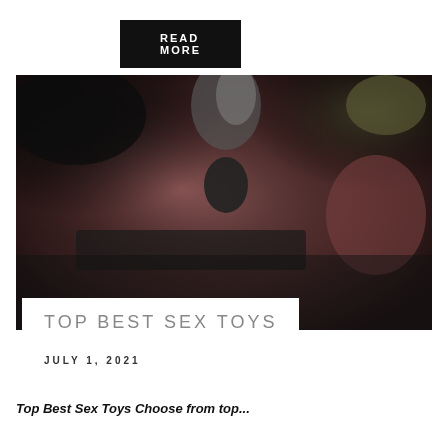READ MORE
[Figure (photo): Dark flat-lay photo of adult toys including metallic items, chains, feather mask, rope, and fur items on a pink surface]
TOP BEST SEX TOYS
JULY 1, 2021
Top Best Sex Toys Choose from top...